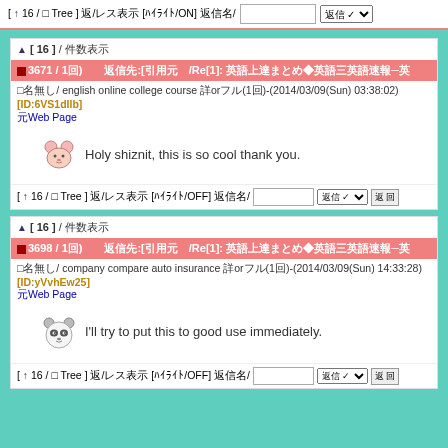[ 0 16 / Tree ] 00/0000 [00000/ON] 0000/
▲ [ 16 ] / 0000
■3671 / 1回) 　　0000:[0000 /Re[1]: 000000000◆00三0000一00
□000/ english online college course 00or00(1回)-(2014/03/09(Sun) 03:38:02) [ID:6VS1dIlb] 00Web Page
Holy shiznit, this is so cool thank you.
▲ [ 16 ] / 0000
■3698 / 1回) 　　0000:[0000 /Re[1]: 000000000◆00三0000一00
□000/ company compare auto insurance 00or00(1回)-(2014/03/09(Sun) 14:33:28) [ID:yVvhEw25] 00Web Page
I'll try to put this to good use immediately.